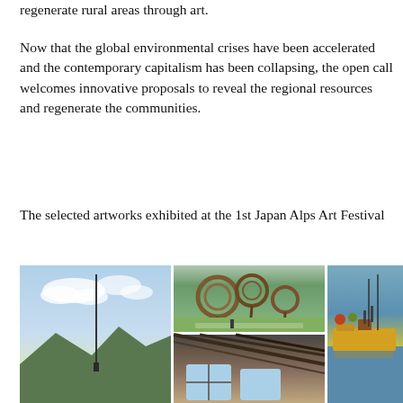regenerate rural areas through art.
Now that the global environmental crises have been accelerated and the contemporary capitalism has been collapsing, the open call welcomes innovative proposals to reveal the regional resources and regenerate the communities.
The selected artworks exhibited at the 1st Japan Alps Art Festival
[Figure (photo): Three photographs showing artworks from the 1st Japan Alps Art Festival: left image shows a tall pole/sculpture against a sky with clouds and mountains; center-top shows large circular woven sculptures in a garden/park landscape; right image shows colorfully decorated boats on a lake; center-bottom shows an interior of a building with wooden roof structure and windows.]